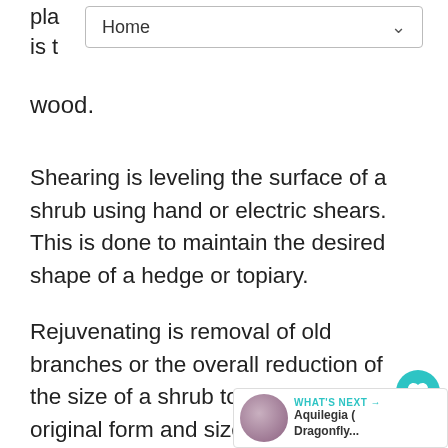Home
wood.
Shearing is leveling the surface of a shrub using hand or electric shears. This is done to maintain the desired shape of a hedge or topiary.
Rejuvenating is removal of old branches or the overall reduction of the size of a shrub to restore its original form and size. It is recommended that you do not remove more than one third of a plant at a time. Remember to remove branches from the inside as well as the outside. When rejuvenating plants with canes, such as nandina, cut back